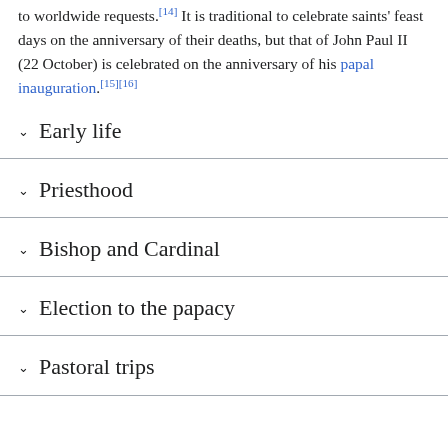to worldwide requests.[14] It is traditional to celebrate saints' feast days on the anniversary of their deaths, but that of John Paul II (22 October) is celebrated on the anniversary of his papal inauguration.[15][16]
Early life
Priesthood
Bishop and Cardinal
Election to the papacy
Pastoral trips